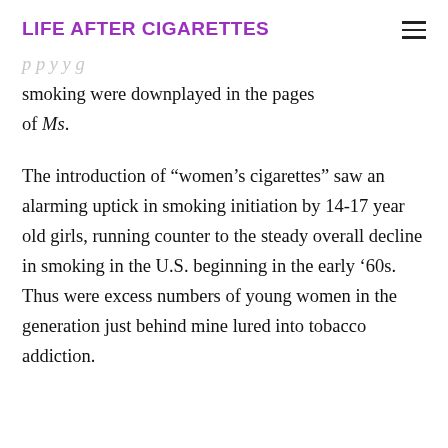LIFE AFTER CIGARETTES
smoking were downplayed in the pages of Ms.
The introduction of “women’s cigarettes” saw an alarming uptick in smoking initiation by 14-17 year old girls, running counter to the steady overall decline in smoking in the U.S. beginning in the early ‘60s. Thus were excess numbers of young women in the generation just behind mine lured into tobacco addiction.